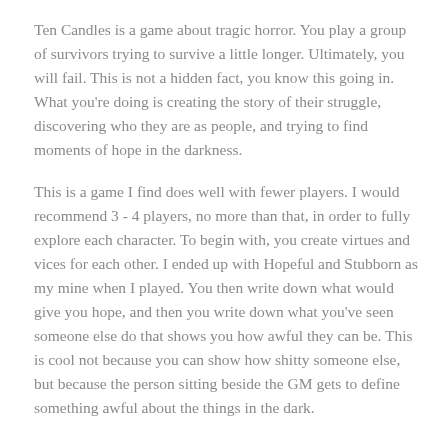Ten Candles is a game about tragic horror. You play a group of survivors trying to survive a little longer. Ultimately, you will fail. This is not a hidden fact, you know this going in. What you're doing is creating the story of their struggle, discovering who they are as people, and trying to find moments of hope in the darkness.
This is a game I find does well with fewer players. I would recommend 3 - 4 players, no more than that, in order to fully explore each character. To begin with, you create virtues and vices for each other. I ended up with Hopeful and Stubborn as my mine when I played. You then write down what would give you hope, and then you write down what you've seen someone else do that shows you how awful they can be. This is cool not because you can show how shitty someone else, but because the person sitting beside the GM gets to define something awful about the things in the dark.